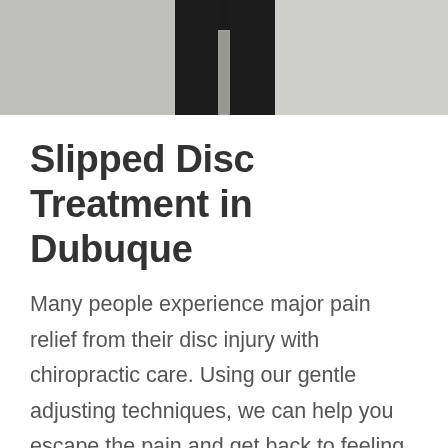[Figure (photo): Partial photo of a person wearing black pants, showing legs/lower body, with a blurred outdoor background.]
Slipped Disc Treatment in Dubuque
Many people experience major pain relief from their disc injury with chiropractic care. Using our gentle adjusting techniques, we can help you escape the pain and get back to feeling great again. Book an appointment now to schedule a time with our team and say goodbye to back pain for good.